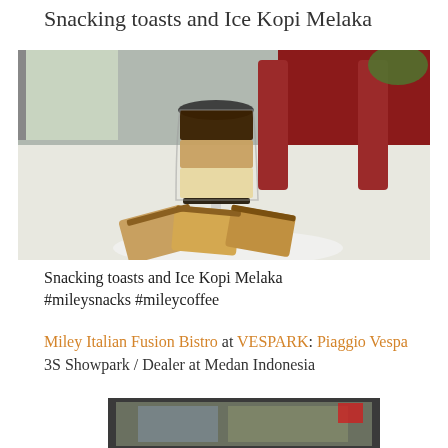Snacking toasts and Ice Kopi Melaka
[Figure (photo): A layered iced coffee drink in a tall glass alongside toast slices on a white plate, with red chairs and window in background]
Snacking toasts and Ice Kopi Melaka #mileysnacks #mileycoffee
Miley Italian Fusion Bistro at VESPARK: Piaggio Vespa 3S Showpark / Dealer at Medan Indonesia
[Figure (photo): Partial view of another photo at the bottom of the page]